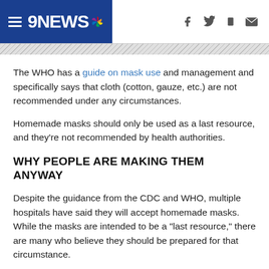9NEWS (navigation header with social icons)
The WHO has a guide on mask use and management and specifically says that cloth (cotton, gauze, etc.) are not recommended under any circumstances.
Homemade masks should only be used as a last resource, and they're not recommended by health authorities.
WHY PEOPLE ARE MAKING THEM ANYWAY
Despite the guidance from the CDC and WHO, multiple hospitals have said they will accept homemade masks. While the masks are intended to be a "last resource," there are many who believe they should be prepared for that circumstance.